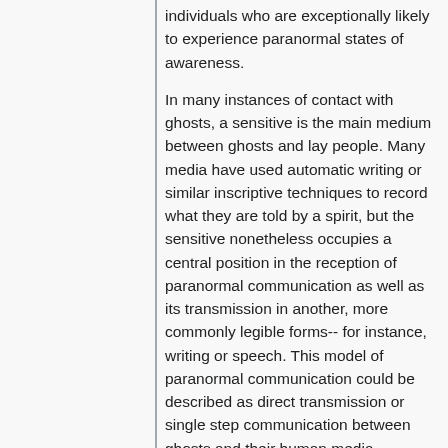individuals who are exceptionally likely to experience paranormal states of awareness.
In many instances of contact with ghosts, a sensitive is the main medium between ghosts and lay people. Many media have used automatic writing or similar inscriptive techniques to record what they are told by a spirit, but the sensitive nonetheless occupies a central position in the reception of paranormal communication as well as its transmission in another, more commonly legible forms-- for instance, writing or speech. This model of paranormal communication could be described as direct transmission or single step communication between ghosts and their human media.
Since at least 1860, however, spiritualists have also located ghostly content in mechanically produced media like photography (See Spirit Photography for more information). When locating spiritual content in a mechanically produced medium, the role of a human medium is fundamentally altered.